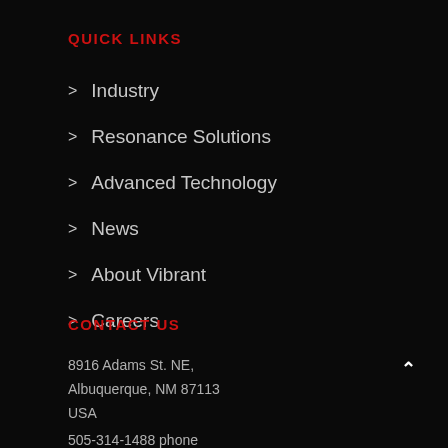QUICK LINKS
Industry
Resonance Solutions
Advanced Technology
News
About Vibrant
Careers
CONTACT US
8916 Adams St. NE,
Albuquerque, NM 87113
USA
505-314-1488 phone